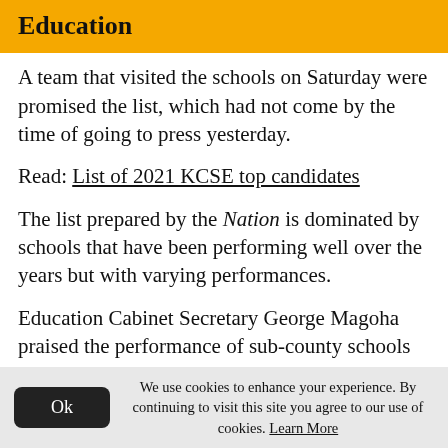Education
A team that visited the schools on Saturday were promised the list, which had not come by the time of going to press yesterday.
Read: List of 2021 KCSE top candidates
The list prepared by the Nation is dominated by schools that have been performing well over the years but with varying performances.
Education Cabinet Secretary George Magoha praised the performance of sub-county schools in the 2021 KCSE exam. In these
We use cookies to enhance your experience. By continuing to visit this site you agree to our use of cookies. Learn More